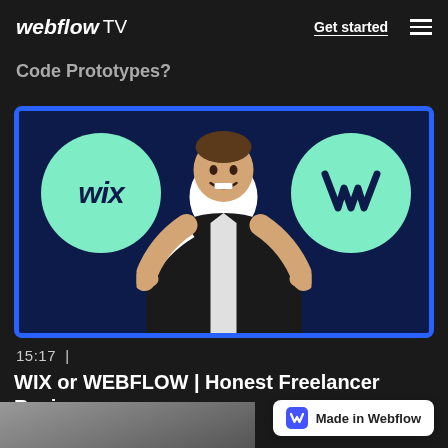webflow TV   Get started ≡
Code Prototypes?
[Figure (screenshot): Video thumbnail showing a man with hands raised in a shrug gesture, flanked by two mint green circles — left circle with 'wix' text, right circle with Webflow 'W' logo — on a dark navy background with blue border]
15:17  |
WIX or WEBFLOW | Honest Freelancer Review
Made in Webflow